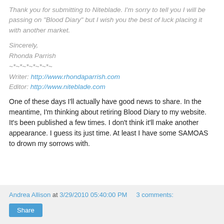Thank you for submitting to Niteblade. I'm sorry to tell you I will be passing on "Blood Diary" but I wish you the best of luck placing it with another market.
Sincerely,
Rhonda Parrish
~*~*~*~*~*~*~
Writer: http://www.rhondaparrish.com
Editor: http://www.niteblade.com
One of these days I'll actually have good news to share. In the meantime, I'm thinking about retiring Blood Diary to my website. It's been published a few times. I don't think it'll make another appearance. I guess its just time. At least I have some SAMOAS to drown my sorrows with.
Andrea Allison at 3/29/2010 05:40:00 PM   3 comments:  Share